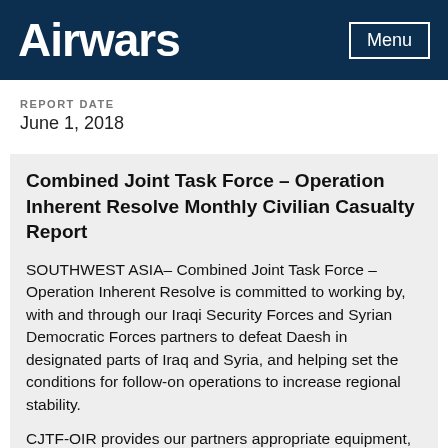Airwars  Menu
REPORT DATE
June 1, 2018
Combined Joint Task Force – Operation Inherent Resolve Monthly Civilian Casualty Report
SOUTHWEST ASIA– Combined Joint Task Force – Operation Inherent Resolve is committed to working by, with and through our Iraqi Security Forces and Syrian Democratic Forces partners to defeat Daesh in designated parts of Iraq and Syria, and helping set the conditions for follow-on operations to increase regional stability.
CJTF-OIR provides our partners appropriate equipment, advice and assistance to achieve our mission and attain the lasting defeat of Daesh. Support to partners also includes precision strikes preceded by